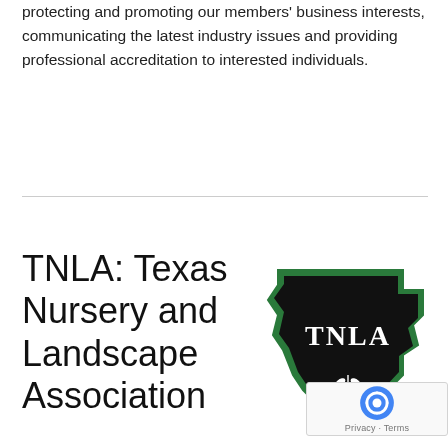protecting and promoting our members' business interests, communicating the latest industry issues and providing professional accreditation to interested individuals.
TNLA: Texas Nursery and Landscape Association
[Figure (logo): TNLA logo: Texas state shape outline in green with black fill, 'TNLA' text in white, and a white plant/leaf emblem at bottom]